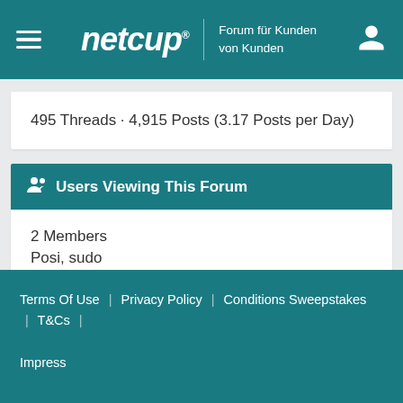netcup® | Forum für Kunden von Kunden
495 Threads · 4,915 Posts (3.17 Posts per Day)
Users Viewing This Forum
2 Members
Posi, sudo
Terms Of Use | Privacy Policy | Conditions Sweepstakes | T&Cs | Impress